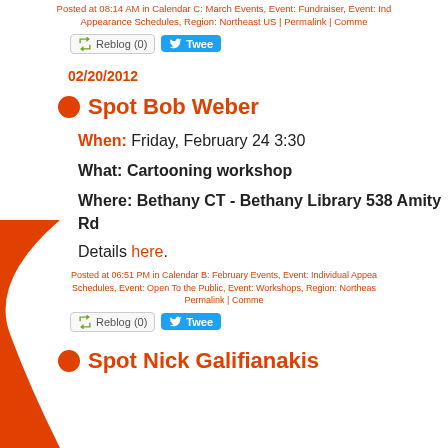Posted at 08:14 AM in Calendar C: March Events, Event: Fundraiser, Event: Individual Appearance Schedules, Region: Northeast US | Permalink | Comments
[Figure (screenshot): Reblog (0) button and Tweet button]
02/20/2012
Spot Bob Weber
When: Friday, February 24 3:30
What: Cartooning workshop
Where: Bethany CT - Bethany Library 538 Amity Rd
Details here.
Posted at 06:51 PM in Calendar B: February Events, Event: Individual Appearance Schedules, Event: Open To the Public, Event: Workshops, Region: Northeast... Permalink | Comments
[Figure (screenshot): Reblog (0) button and Tweet button]
Spot Nick Galifianakis